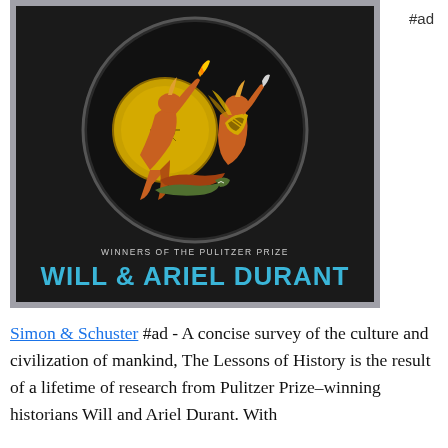#ad
[Figure (photo): Book cover of 'The Lessons of History' by Will & Ariel Durant. Dark/black background with a circular medallion featuring ancient Greek warriors in orange/gold illustrated style. Text reads 'WINNERS OF THE PULITZER PRIZE' and 'WILL & ARIEL DURANT' in large teal/blue letters. Cover has a silver/gray border frame.]
Simon & Schuster #ad - A concise survey of the culture and civilization of mankind, The Lessons of History is the result of a lifetime of research from Pulitzer Prize–winning historians Will and Ariel Durant. With